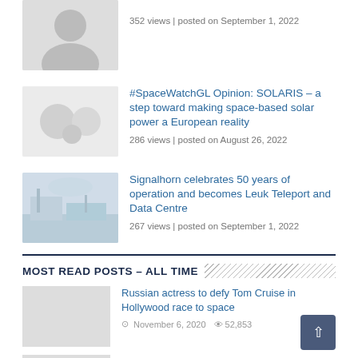[Figure (photo): Person avatar thumbnail (cropped, top of page)]
352 views | posted on September 1, 2022
[Figure (photo): Space/abstract circles thumbnail]
#SpaceWatchGL Opinion: SOLARIS – a step toward making space-based solar power a European reality
286 views | posted on August 26, 2022
[Figure (photo): Landscape/teleport facility thumbnail]
Signalhorn celebrates 50 years of operation and becomes Leuk Teleport and Data Centre
267 views | posted on September 1, 2022
MOST READ POSTS – ALL TIME
[Figure (photo): Gray placeholder thumbnail]
Russian actress to defy Tom Cruise in Hollywood race to space
November 6, 2020  52,853
[Figure (photo): Gray placeholder thumbnail]
SpaceX to fly Starship 50,000 feet high, with 1/3 chance to get it back intact
November 30, 2020  48,596